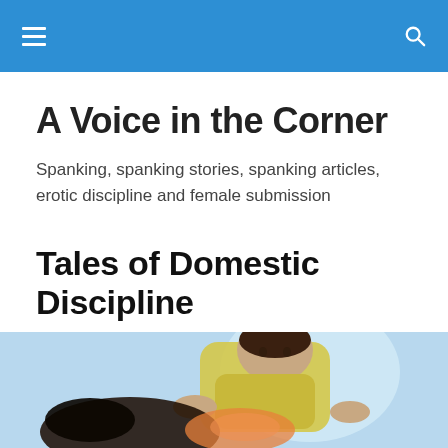A Voice in the Corner — navigation header
A Voice in the Corner
Spanking, spanking stories, spanking articles, erotic discipline and female submission
Tales of Domestic Discipline
Posted by DJ
[Figure (photo): A man and a woman in a domestic discipline spanking scene, photographed against a light blue background.]